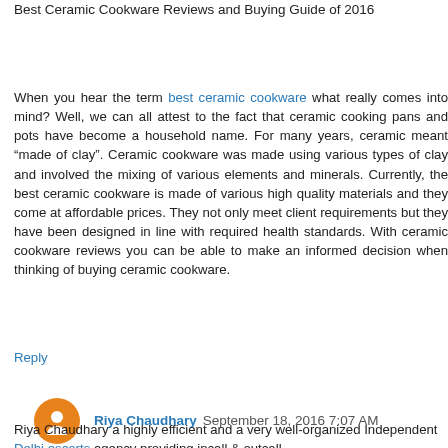Best Ceramic Cookware Reviews and Buying Guide of 2016
When you hear the term best ceramic cookware what really comes into mind? Well, we can all attest to the fact that ceramic cooking pans and pots have become a household name. For many years, ceramic meant “made of clay”. Ceramic cookware was made using various types of clay and involved the mixing of various elements and minerals. Currently, the best ceramic cookware is made of various high quality materials and they come at affordable prices. They not only meet client requirements but they have been designed in line with required health standards. With ceramic cookware reviews you can be able to make an informed decision when thinking of buying ceramic cookware.
Reply
Riya Chaudhary September 18, 2016 7:07 AM
Riya Chaudhary a highly efficient and a very well-organized Independent Delhi escorts agency providing incall & outcall